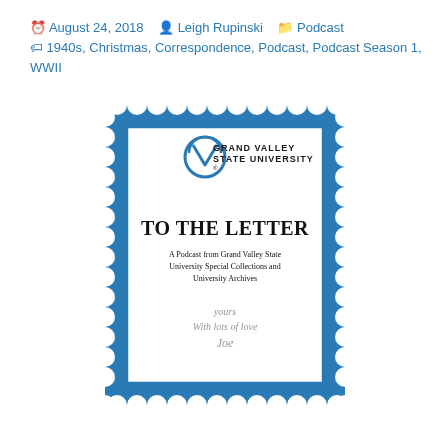August 24, 2018   Leigh Rupinski   Podcast   1940s, Christmas, Correspondence, Podcast, Podcast Season 1, WWII
[Figure (illustration): A postage stamp graphic featuring the Grand Valley State University logo at the top, the text 'TO THE LETTER' in large serif font, subtitle 'A Podcast from Grand Valley State University Special Collections and University Archives', and a handwritten signature at the bottom. The stamp has a blue scalloped/perforated border and a blue inner border.]